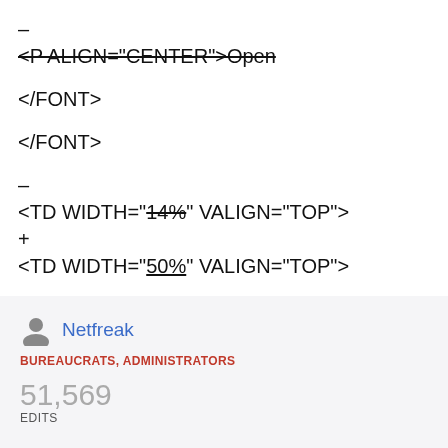– <P ALIGN="CENTER">Open
</FONT>
</FONT>
– <TD WIDTH="14%" VALIGN="TOP"> + <TD WIDTH="50%" VALIGN="TOP">
<FONT FACE="Arial">
Netfreak
BUREAUCRATS, ADMINISTRATORS
51,569 EDITS